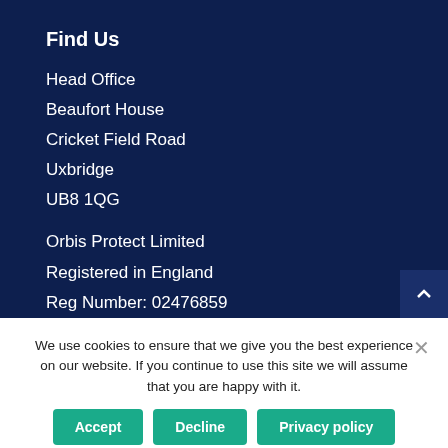Find Us
Head Office
Beaufort House
Cricket Field Road
Uxbridge
UB8 1QG
Orbis Protect Limited
Registered in England
Reg Number: 02476859
© Copyright 2019
We use cookies to ensure that we give you the best experience on our website. If you continue to use this site we will assume that you are happy with it.
Accept
Decline
Privacy policy